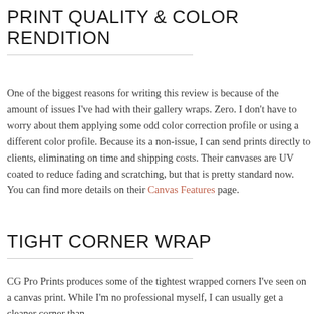PRINT QUALITY & COLOR RENDITION
One of the biggest reasons for writing this review is because of the amount of issues I've had with their gallery wraps. Zero. I don't have to worry about them applying some odd color correction profile or using a different color profile. Because its a non-issue, I can send prints directly to clients, eliminating on time and shipping costs. Their canvases are UV coated to reduce fading and scratching, but that is pretty standard now. You can find more details on their Canvas Features page.
TIGHT CORNER WRAP
CG Pro Prints produces some of the tightest wrapped corners I've seen on a canvas print. While I'm no professional myself, I can usually get a cleaner corner than